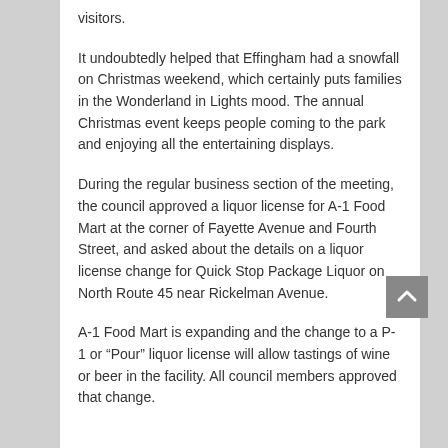visitors.
It undoubtedly helped that Effingham had a snowfall on Christmas weekend, which certainly puts families in the Wonderland in Lights mood. The annual Christmas event keeps people coming to the park and enjoying all the entertaining displays.
During the regular business section of the meeting, the council approved a liquor license for A-1 Food Mart at the corner of Fayette Avenue and Fourth Street, and asked about the details on a liquor license change for Quick Stop Package Liquor on North Route 45 near Rickelman Avenue.
A-1 Food Mart is expanding and the change to a P-1 or “Pour” liquor license will allow tastings of wine or beer in the facility. All council members approved that change.